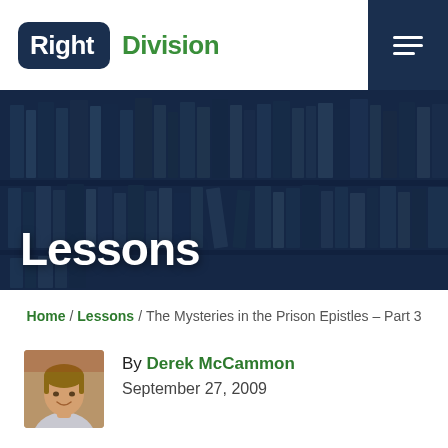Right Division
[Figure (photo): Bookshelf with dark blue overlay and white bold text 'Lessons']
Lessons
Home / Lessons / The Mysteries in the Prison Epistles – Part 3
[Figure (photo): Headshot photo of Derek McCammon]
By Derek McCammon
September 27, 2009